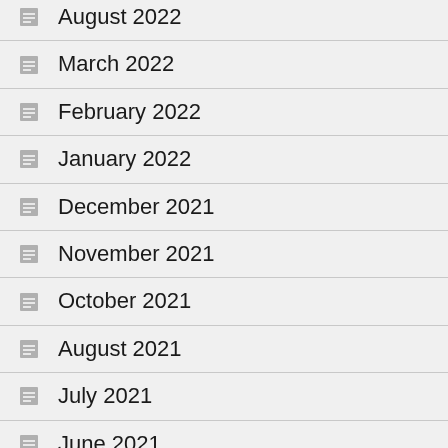August 2022
March 2022
February 2022
January 2022
December 2021
November 2021
October 2021
August 2021
July 2021
June 2021